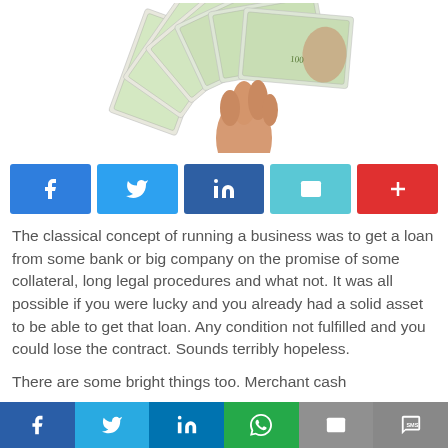[Figure (photo): A hand holding a fan of US $100 dollar bills, spread out against a white background.]
[Figure (infographic): Social share buttons: Facebook (blue), Twitter (light blue), LinkedIn (dark blue), Email (teal/cyan), Plus/More (red)]
The classical concept of running a business was to get a loan from some bank or big company on the promise of some collateral, long legal procedures and what not. It was all possible if you were lucky and you already had a solid asset to be able to get that loan. Any condition not fulfilled and you could lose the contract. Sounds terribly hopeless.
There are some bright things too. Merchant cash
[Figure (infographic): Bottom social share bar with icons for Facebook, Twitter, LinkedIn, WhatsApp, Email, SMS]